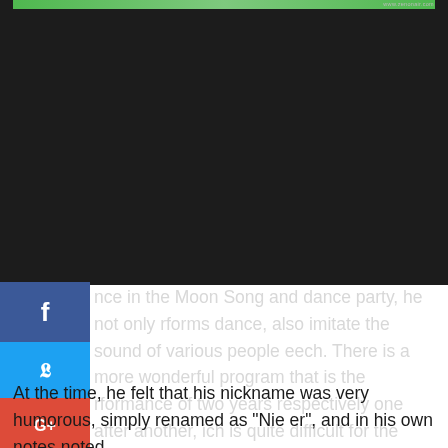[Figure (screenshot): Top portion of a webpage screenshot showing a green banner/strip at the top with a watermark 'www.zenonair.com' visible in the upper right corner, over a dark background.]
nce in the Moon Song and dance party, he not only rforms dance, also imitate the sound of various people eech. There is a more wonderful program that is the rformance of two years respectively one after another, ich is quite difficult for the ordinary people to do. He anaged to do it and he made everyone laugh finally. om then on he was called in the song and dance upe and was recognized as "Mr. Ears". His good hearing is one of the reasons for this nickname.
At the time, he felt that his nickname was very humorous, simply renamed as "Nie er", and in his own notes noted